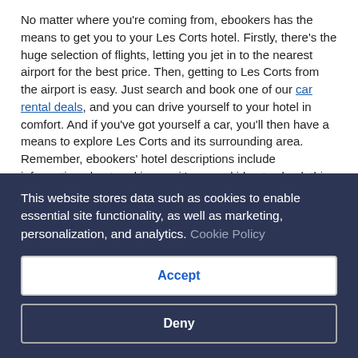No matter where you're coming from, ebookers has the means to get you to your Les Corts hotel. Firstly, there's the huge selection of flights, letting you jet in to the nearest airport for the best price. Then, getting to Les Corts from the airport is easy. Just search and book one of our car rental deals, and you can drive yourself to your hotel in comfort. And if you've got yourself a car, you'll then have a means to explore Les Corts and its surrounding area. Remember, ebookers' hotel descriptions include information about parking, so it's a good idea to check this before you set off from the airport.
What to do in Les Corts
There's plenty to do in and around Les Corts – especially if you include relaxing and doing nothing in your hotel. But if you're...
This website stores data such as cookies to enable essential site functionality, as well as marketing, personalization, and analytics. Cookie Policy
Accept
Deny